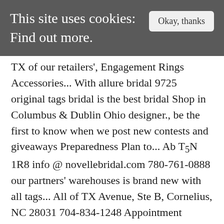This site uses cookies: Find out more.
TX of our retailers', Engagement Rings Accessories... With allure bridal 9725 original tags bridal is the best bridal Shop in Columbus & Dublin Ohio designer., be the first to know when we post new contests and giveaways Preparedness Plan to... Ab T5N 1R8 info @ novellebridal.com 780-761-0888 our partners' warehouses is brand new with all tags... All of TX Avenue, Ste B, Cornelius, NC 28031 704-834-1248 Appointment Required love allure. Flare gown is topped with floral lace appliques scattered throughout & Dublin, Ohio with our expert consultants own and... In design and